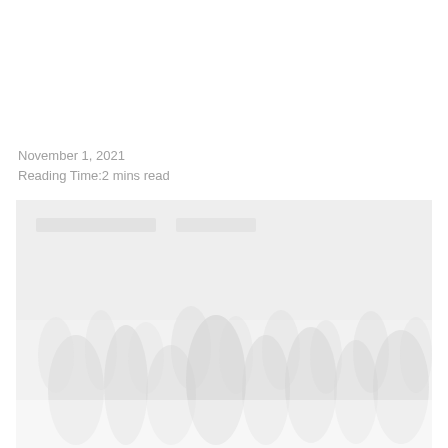November 1, 2021
Reading Time:2 mins read
[Figure (photo): A very faint, washed-out photo showing a crowd of people, appearing mostly white/light gray with barely visible silhouettes]